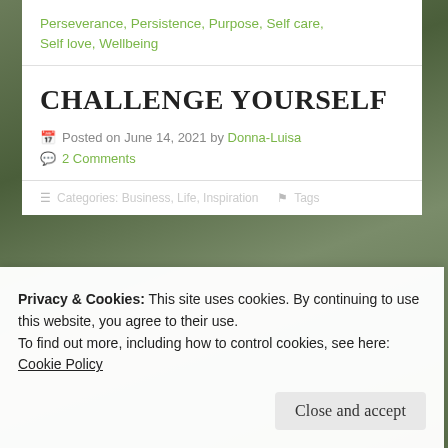Perseverance, Persistence, Purpose, Self care, Self love, Wellbeing
CHALLENGE YOURSELF
Posted on June 14, 2021 by Donna-Luisa
2 Comments
Categories: Business, Life, Inspiration  Tags: ...
Privacy & Cookies: This site uses cookies. By continuing to use this website, you agree to their use.
To find out more, including how to control cookies, see here:
Cookie Policy
Close and accept